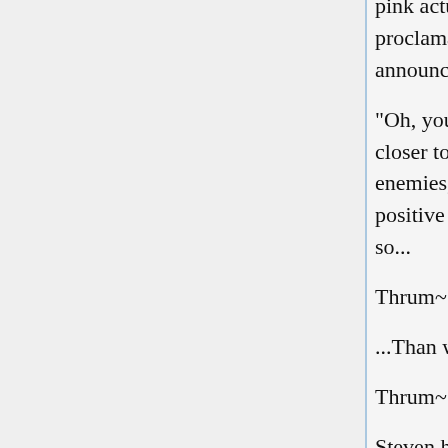pink actually gets his attention. Over the din of combat, a proclamation amongst the exchange helps bolster him. An announcement a diehard fan would easily recognize.
"Oh, you guys are in for it now!" he says as he rejoins the fray closer to the center. Whilst he swings his shield, he sees so many enemies, and Magical Girls under duress. They have to stay positive and chase their happiness...! And what better way to do so...
Thrum~
...Than with a little music!
Thrum~
Steven has found his way onto a tall box, and has taken out what looks like a custom flaming ukelele. "I may not be the best at fighting, but I know how to